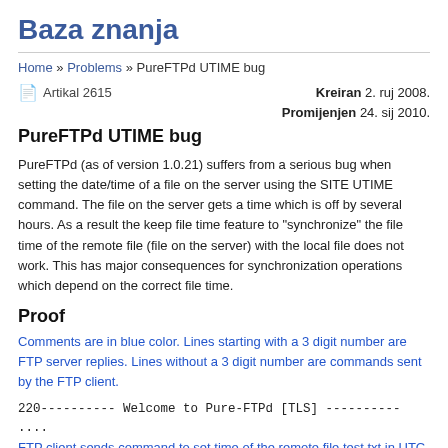Baza znanja
Home » Problems » PureFTPd UTIME bug
Artikal 2615   Kreiran 2. ruj 2008.   Promijenjen 24. sij 2010.
PureFTPd UTIME bug
PureFTPd (as of version 1.0.21) suffers from a serious bug when setting the date/time of a file on the server using the SITE UTIME command. The file on the server gets a time which is off by several hours. As a result the keep file time feature to "synchronize" the file time of the remote file (file on the server) with the local file does not work. This has major consequences for synchronization operations which depend on the correct file time.
Proof
Comments are in blue color. Lines starting with a 3 digit number are FTP server replies. Lines without a 3 digit number are commands sent by the FTP client.
220---------- Welcome to Pure-FTPd [TLS] ----------
....
FTP client sends command to set time of the remote file test.txt in UTC with the SITE UTIME command:
SITE UTIME test.txt 20080825033443 20080825033443 20080825033443 UTC